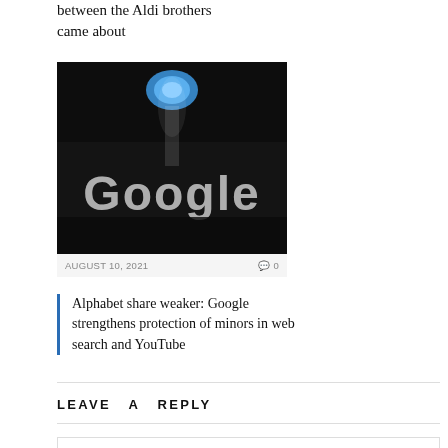between the Aldi brothers came about
[Figure (photo): Dark Google sign/logo illuminated with a blue circular light above it on a dark background]
AUGUST 10, 2021   💬 0
Alphabet share weaker: Google strengthens protection of minors in web search and YouTube
LEAVE A REPLY
Your Comment